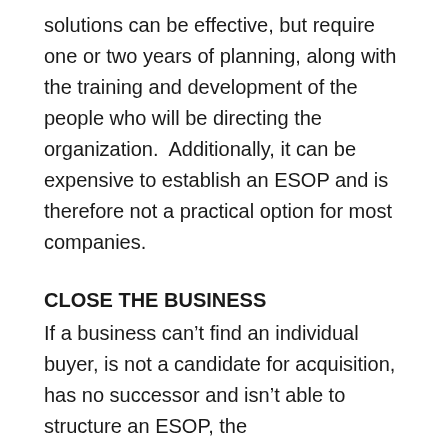solutions can be effective, but require one or two years of planning, along with the training and development of the people who will be directing the organization.  Additionally, it can be expensive to establish an ESOP and is therefore not a practical option for most companies.
CLOSE THE BUSINESS
If a business can't find an individual buyer, is not a candidate for acquisition, has no successor and isn't able to structure an ESOP, the